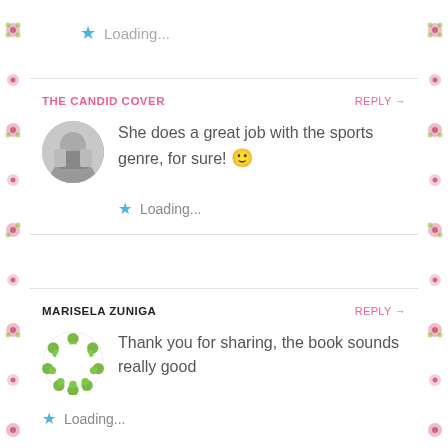★ Loading...
THE CANDID COVER — REPLY →
She does a great job with the sports genre, for sure! 🙂
★ Loading...
MARISELA ZUNIGA — REPLY →
Thank you for sharing, the book sounds really good
★ Loading...